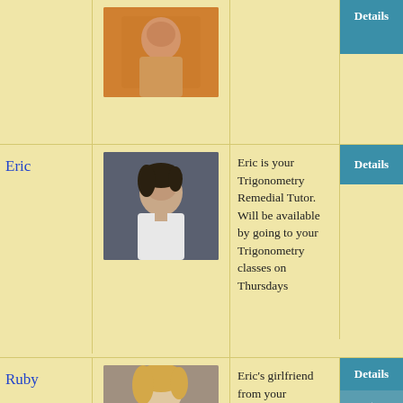[Figure (photo): Partial photo of a person with orange/warm background, cropped at top]
Eric
[Figure (photo): Photo of Eric, a young man with dark hair wearing a white t-shirt against a dark background]
Eric is your Trigonometry Remedial Tutor. Will be available by going to your Trigonometry classes on Thursdays
Ruby
[Figure (photo): Photo of Ruby, a blonde woman wearing a white top]
Eric's girlfriend from your Trigonometry